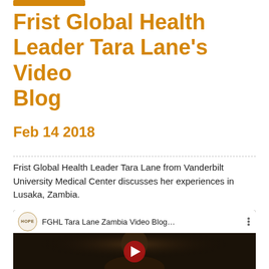Frist Global Health Leader Tara Lane's Video Blog
Feb 14 2018
Frist Global Health Leader Tara Lane from Vanderbilt University Medical Center discusses her experiences in Lusaka, Zambia.
[Figure (screenshot): YouTube video thumbnail showing 'FGHL Tara Lane Zambia Video Blog...' with HOPE logo and a person's silhouette with a red play button overlay]